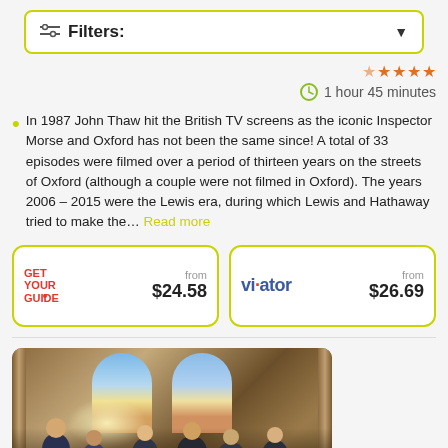[Figure (screenshot): Filters bar with sliders icon, 'Filters:' text and dropdown arrow, styled with yellow-green border]
[Figure (infographic): Star rating row showing approximately 4.5 orange stars]
1 hour 45 minutes
In 1987 John Thaw hit the British TV screens as the iconic Inspector Morse and Oxford has not been the same since! A total of 33 episodes were filmed over a period of thirteen years on the streets of Oxford (although a couple were not filmed in Oxford). The years 2006 – 2015 were the Lewis era, during which Lewis and Hathaway tried to make the… Read more
[Figure (infographic): Two booking option buttons side by side. Left: GetYourGuide logo with 'from $24.58'. Right: Viator logo with 'from $26.69'.]
[Figure (photo): Interior of a church/cathedral with stained glass windows, wooden pews, and a group of tourists or visitors standing inside.]